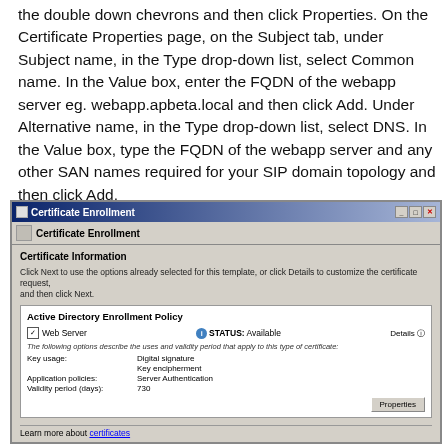the double down chevrons and then click Properties. On the Certificate Properties page, on the Subject tab, under Subject name, in the Type drop-down list, select Common name. In the Value box, enter the FQDN of the webapp server eg. webapp.apbeta.local and then click Add. Under Alternative name, in the Type drop-down list, select DNS. In the Value box, type the FQDN of the webapp server and any other SAN names required for your SIP domain topology and then click Add.
[Figure (screenshot): Screenshot of Windows Certificate Enrollment dialog showing Active Directory Enrollment Policy with Web Server certificate, status Available, key usage Digital signature and Key encipherment, application policies Server Authentication, validity period 730 days, and a Properties button.]